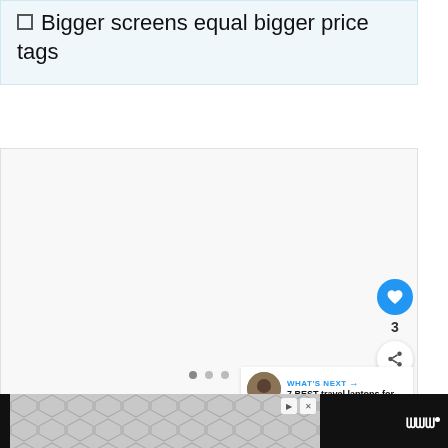Bigger screens equal bigger price tags
[Figure (other): Content image placeholder with navigation dots, like/share buttons, and a 'What's Next' thumbnail showing a travel laptops article]
Advertisement footer with geometric pattern, ad controls, and brand logo